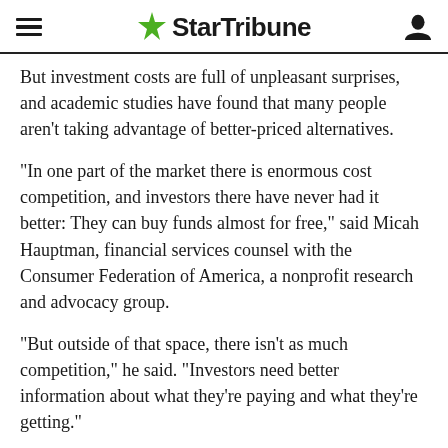StarTribune
But investment costs are full of unpleasant surprises, and academic studies have found that many people aren’t taking advantage of better-priced alternatives.
“In one part of the market there is enormous cost competition, and investors there have never had it better: They can buy funds almost for free,” said Micah Hauptman, financial services counsel with the Consumer Federation of America, a nonprofit research and advocacy group.
“But outside of that space, there isn’t as much competition,” he said. “Investors need better information about what they’re paying and what they’re getting.”
By now, many people know that fund fees take a toll on returns.
One well-known calculation from the Department of Labor found that, over 35 years, a difference in fees of 1 percentage point